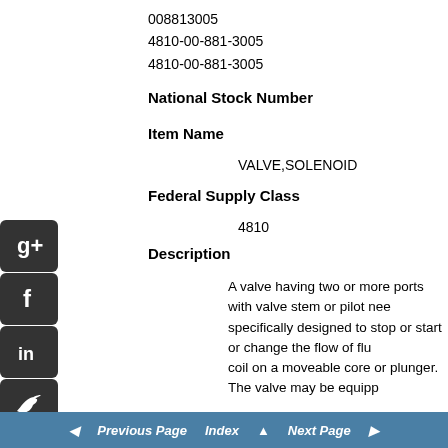008813005
4810-00-881-3005
4810-00-881-3005
National Stock Number
Item Name
VALVE,SOLENOID
Federal Supply Class
4810
Description
A valve having two or more ports with valve stem or pilot nee specifically designed to stop or start or change the flow of flu coil on a moveable core or plunger. The valve may be equipp
Previous Page  Index  Next Page